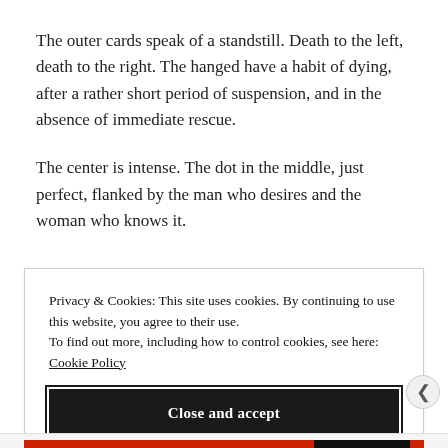The outer cards speak of a standstill. Death to the left, death to the right. The hanged have a habit of dying, after a rather short period of suspension, and in the absence of immediate rescue.
The center is intense. The dot in the middle, just perfect, flanked by the man who desires and the woman who knows it.
Privacy & Cookies: This site uses cookies. By continuing to use this website, you agree to their use.
To find out more, including how to control cookies, see here:
Cookie Policy
Close and accept